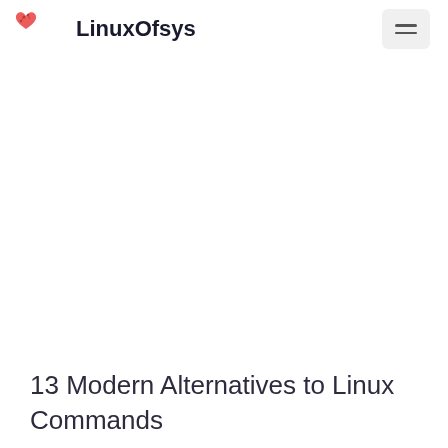LinuxOfsys
13 Modern Alternatives to Linux Commands